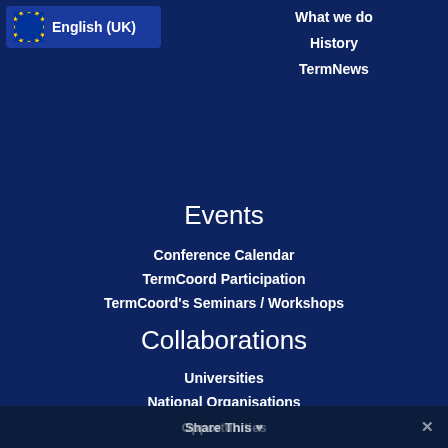[Figure (logo): EU flag circle of yellow stars on blue background with English (UK) label]
What we do
History
TermNews
Events
Conference Calendar
TermCoord Participation
TermCoord's Seminars / Workshops
Collaborations
Universities
National Organisations
Interinstitutional and external cooperation
Opportunities
Share This ✕